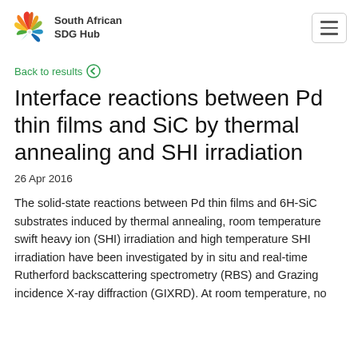South African SDG Hub
Back to results
Interface reactions between Pd thin films and SiC by thermal annealing and SHI irradiation
26 Apr 2016
The solid-state reactions between Pd thin films and 6H-SiC substrates induced by thermal annealing, room temperature swift heavy ion (SHI) irradiation and high temperature SHI irradiation have been investigated by in situ and real-time Rutherford backscattering spectrometry (RBS) and Grazing incidence X-ray diffraction (GIXRD). At room temperature, no